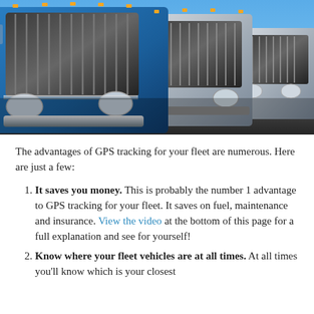[Figure (photo): A row of large commercial semi-trucks with chrome grilles, photographed from a low angle. The lead trucks are blue and silver/white, shot against a blue sky. They appear to be parked in a fleet depot.]
The advantages of GPS tracking for your fleet are numerous. Here are just a few:
It saves you money. This is probably the number 1 advantage to GPS tracking for your fleet. It saves on fuel, maintenance and insurance. View the video at the bottom of this page for a full explanation and see for yourself!
Know where your fleet vehicles are at all times. At all times you'll know which is your closest